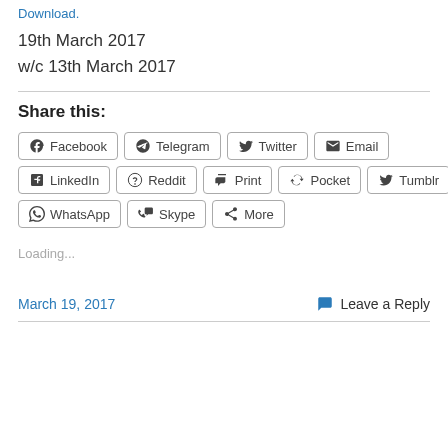Download.
19th March 2017
w/c 13th March 2017
Share this:
Facebook  Telegram  Twitter  Email  LinkedIn  Reddit  Print  Pocket  Tumblr  WhatsApp  Skype  More
Loading...
March 19, 2017   Leave a Reply